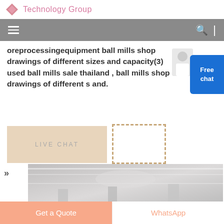Technology Group
[Figure (screenshot): Navigation bar with hamburger menu icon on left, search icon and vertical divider on right, gray background]
oreprocessingequipment ball mills shop drawings of different sizes and capacity(3) used ball mills sale thailand , ball mills shop drawings of different s and.
[Figure (screenshot): Live chat button area with beige background labeled LIVE CHAT and a dashed box overlay]
[Figure (screenshot): Free chat button with agent photo, blue rounded button with text Free chat]
[Figure (photo): Interior of an industrial factory or warehouse with overhead lighting]
[Figure (screenshot): Bottom action bar with Get a Quote button (orange) and WhatsApp button (white/orange text)]